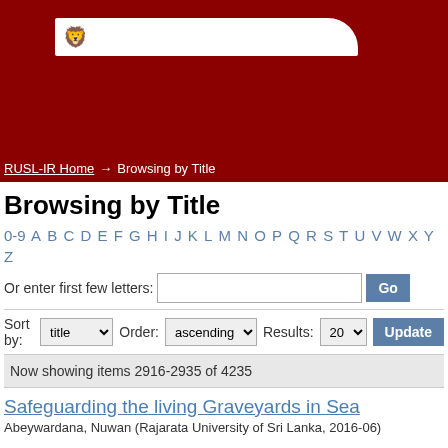[Figure (other): University website header banner with dark red background and white logo bar with university crest icon]
RUSL-IR Home → Browsing by Title
Browsing by Title
0-9 A B C D E F G H I J K L M N O P Q R S T U V W X Y Z
Or enter first few letters: [input] Go
Sort by: title   Order: ascending   Results: 20   Update
Now showing items 2916-2935 of 4235
Safeguarding the living Graveyards in Sea
Abeywardana, Nuwan (Rajarata University of Sri Lanka, 2016-06)